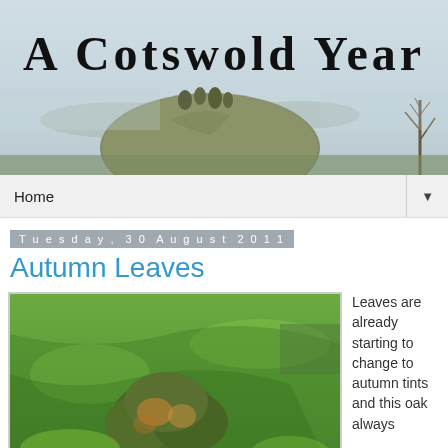[Figure (photo): Blog header banner showing a misty Cotswold hillside landscape with a rounded hill in the centre, bare trees to the right, and fog in the background. Overlaid with the blog title 'A Cotswold Year' in a hand-drawn font.]
Home ▼
Tuesday, 30 August 2011
Autumn Leaves
[Figure (photo): Photograph of a large oak tree in a sunlit green field with long shadows cast across the grass.]
Leaves are already starting to change to autumn tints and this oak always